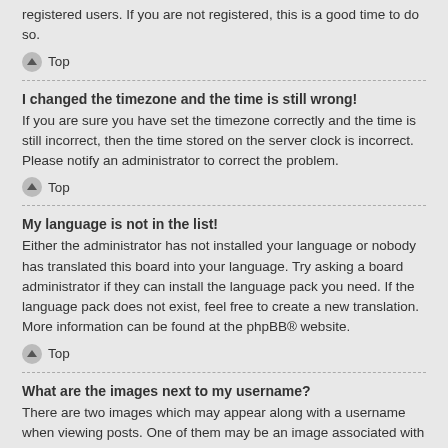registered users. If you are not registered, this is a good time to do so.
Top
I changed the timezone and the time is still wrong!
If you are sure you have set the timezone correctly and the time is still incorrect, then the time stored on the server clock is incorrect. Please notify an administrator to correct the problem.
Top
My language is not in the list!
Either the administrator has not installed your language or nobody has translated this board into your language. Try asking a board administrator if they can install the language pack you need. If the language pack does not exist, feel free to create a new translation. More information can be found at the phpBB® website.
Top
What are the images next to my username?
There are two images which may appear along with a username when viewing posts. One of them may be an image associated with your rank, generally in the form of stars, blocks or dots, indicating how many posts you have made or your status on the board. Another, usually larger, image is known as an avatar and is